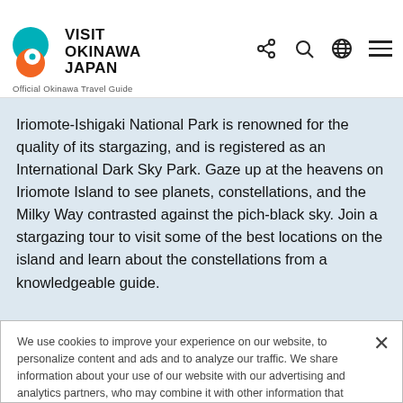Iriomote Island, making for impressive displays. Tour operators offer trips to see these and other varieties of
[Figure (logo): Visit Okinawa Japan logo with teal/orange/white circular emblem and 'Official Okinawa Travel Guide' tagline]
Iriomote-Ishigaki National Park is renowned for the quality of its stargazing, and is registered as an International Dark Sky Park. Gaze up at the heavens on Iriomote Island to see planets, constellations, and the Milky Way contrasted against the pich-black sky. Join a stargazing tour to visit some of the best locations on the island and learn about the constellations from a knowledgeable guide.
We use cookies to improve your experience on our website, to personalize content and ads and to analyze our traffic. We share information about your use of our website with our advertising and analytics partners, who may combine it with other information that you have provided to them or that they have collected from your use of their services. Please click [Cookie Settings] to customize your cookie settings on our website.  Privacy Policy